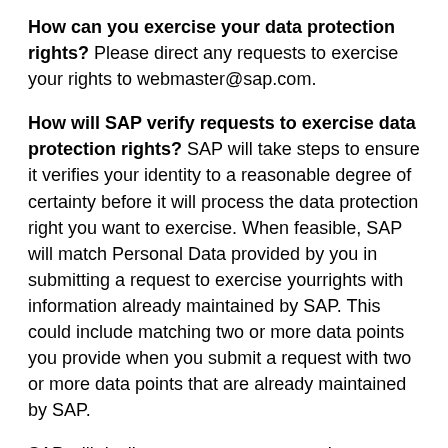How can you exercise your data protection rights? Please direct any requests to exercise your rights to webmaster@sap.com.
How will SAP verify requests to exercise data protection rights? SAP will take steps to ensure it verifies your identity to a reasonable degree of certainty before it will process the data protection right you want to exercise. When feasible, SAP will match Personal Data provided by you in submitting a request to exercise yourrights with information already maintained by SAP. This could include matching two or more data points you provide when you submit a request with two or more data points that are already maintained by SAP.
SAP will decline to process requests that are manifestly unfounded, excessive, fraudulent, or are not otherwise required by local law.
Right to lodge a complaint. If you take the view that SAP is not processing your Personal Data in accordance with the